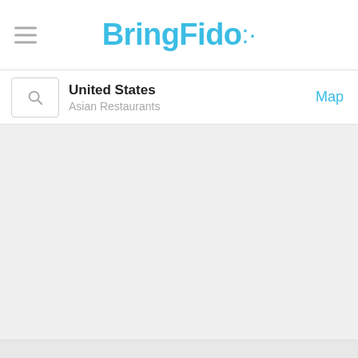BringFido
United States
Asian Restaurants
Map